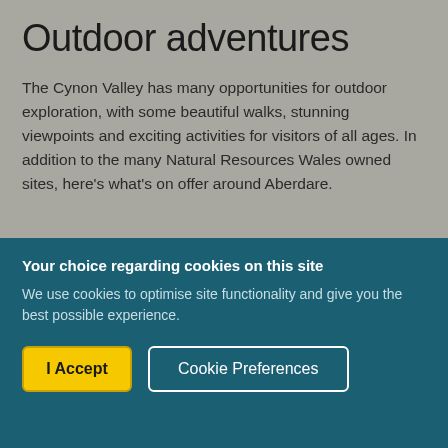Outdoor adventures
The Cynon Valley has many opportunities for outdoor exploration, with some beautiful walks, stunning viewpoints and exciting activities for visitors of all ages. In addition to the many Natural Resources Wales owned sites, here's what's on offer around Aberdare.
Your choice regarding cookies on this site
We use cookies to optimise site functionality and give you the best possible experience.
I Accept | Cookie Preferences